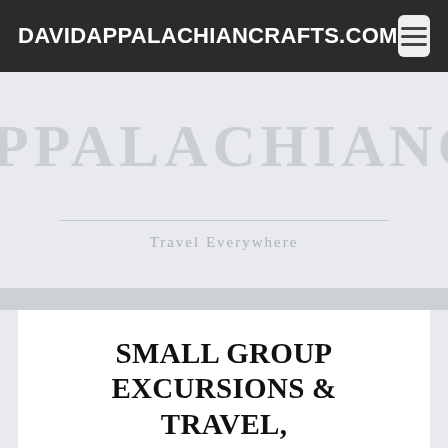DAVIDAPPALACHIANCRAFTS.COM
[Figure (screenshot): Large decorative text 'PPALACHIANCRAF' in light gray serif font on a light gray background, with a horizontal divider line and tagline 'Travel Everywhere' below]
Travel Everywhere
SMALL GROUP EXCURSIONS & TRAVEL, LARGE ADVENTURES